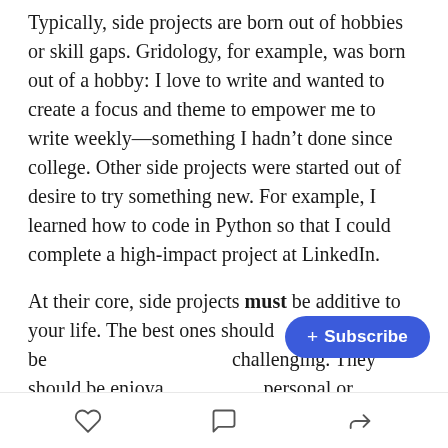Typically, side projects are born out of hobbies or skill gaps. Gridology, for example, was born out of a hobby: I love to write and wanted to create a focus and theme to empower me to write weekly—something I hadn't done since college. Other side projects were started out of desire to try something new. For example, I learned how to code in Python so that I could complete a high-impact project at LinkedIn.
At their core, side projects must be additive to your life. The best ones should be [Subscribe button overlay] challenging. They should be enjoya[ble and lead to] personal or professional growth. Side projects must
[Figure (other): Subscribe button overlay — a blue pill-shaped button with '+ Subscribe' text in white, positioned over the second paragraph]
Heart icon | Comment icon | Share icon